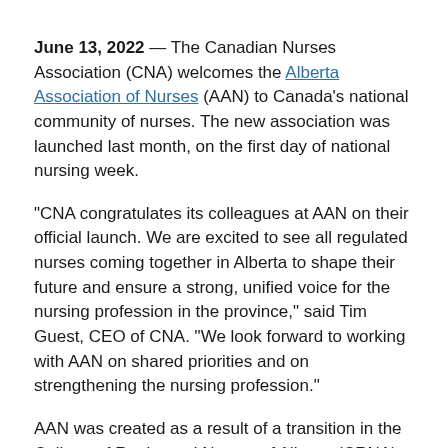June 13, 2022 — The Canadian Nurses Association (CNA) welcomes the Alberta Association of Nurses (AAN) to Canada's national community of nurses. The new association was launched last month, on the first day of national nursing week.
“CNA congratulates its colleagues at AAN on their official launch. We are excited to see all regulated nurses coming together in Alberta to shape their future and ensure a strong, unified voice for the nursing profession in the province,” said Tim Guest, CEO of CNA. “We look forward to working with AAN on shared priorities and on strengthening the nursing profession.”
AAN was created as a result of a transition in the College of Registered Nurses of Alberta (CRNA), which voted in 2020 to separate its dual mandates. AAN was formally founded in 2021 to ensure there is one collective voice for all categories of nurses, including registered nurses, licensed practical nurses, registered psychiatric nurses and nurse practitioners.